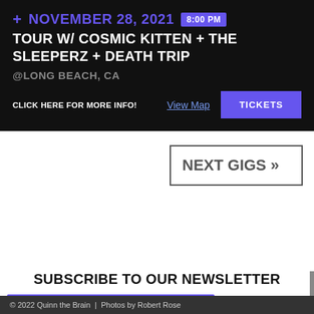+ NOVEMBER 28, 2021  8:00 PM
TOUR W/ COSMIC KITTEN + THE SLEEPERZ + DEATH TRIP
@LONG BEACH, CA
CLICK HERE FOR MORE INFO!
View Map
TICKETS
NEXT GIGS »
SUBSCRIBE TO OUR NEWSLETTER
SUBSCRIBE
© 2022 Quinn the Brain  |  Photos by Robert Rose